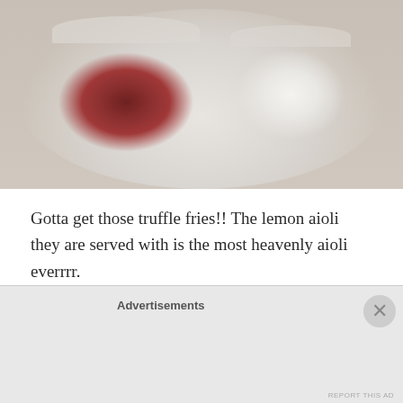[Figure (photo): Close-up photo of dipping sauces in clear plastic cups on a white plate — a dark red/brown sauce (likely ketchup or BBQ) on the left and a white cream sauce (likely aioli) on the right]
Gotta get those truffle fries!! The lemon aioli they are served with is the most heavenly aioli everrrr.
[Figure (photo): Photo of truffle fries served in a paper-lined cardboard tray/basket, with a small cup of dipping sauce visible in the background, restaurant setting]
Advertisements
REPORT THIS AD